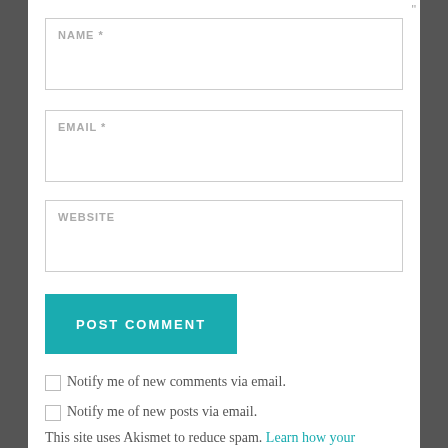NAME *
EMAIL *
WEBSITE
POST COMMENT
Notify me of new comments via email.
Notify me of new posts via email.
This site uses Akismet to reduce spam. Learn how your